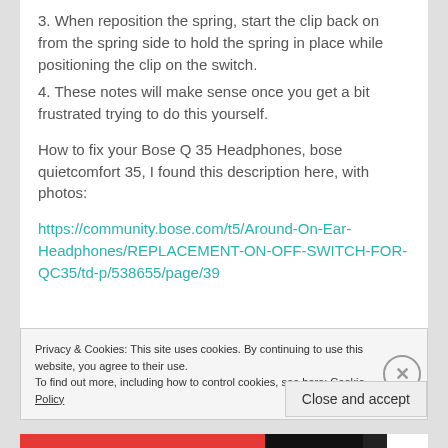3. When reposition the spring, start the clip back on from the spring side to hold the spring in place while positioning the clip on the switch.
4. These notes will make sense once you get a bit frustrated trying to do this yourself.
How to fix your Bose Q 35 Headphones, bose quietcomfort 35, I found this description here, with photos:
https://community.bose.com/t5/Around-On-Ear-Headphones/REPLACEMENT-ON-OFF-SWITCH-FOR-QC35/td-p/538655/page/39
Privacy & Cookies: This site uses cookies. By continuing to use this website, you agree to their use.
To find out more, including how to control cookies, see here: Cookie Policy
Close and accept